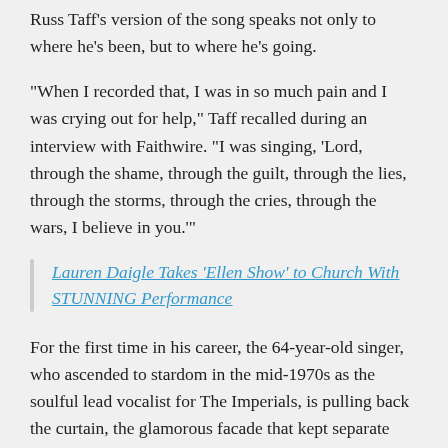Russ Taff's version of the song speaks not only to where he's been, but to where he's going.
“When I recorded that, I was in so much pain and I was crying out for help,” Taff recalled during an interview with Faithwire. “I was singing, ‘Lord, through the shame, through the guilt, through the lies, through the storms, through the cries, through the wars, I believe in you.’”
Lauren Daigle Takes ‘Ellen Show’ to Church With STUNNING Performance
For the first time in his career, the 64-year-old singer, who ascended to stardom in the mid-1970s as the soulful lead vocalist for The Imperials, is pulling back the curtain, the glamorous facade that kept separate